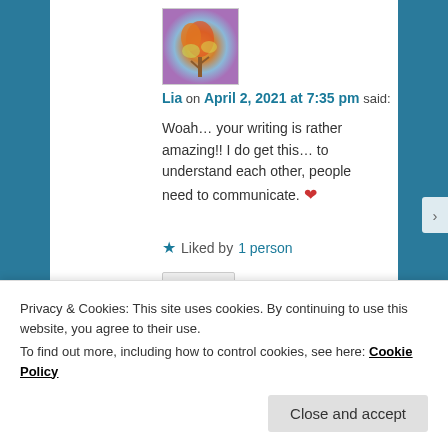[Figure (illustration): Colorful painted artwork avatar showing a heart-like tree shape with orange, purple, and blue colors]
Lia on April 2, 2021 at 7:35 pm said:
Woah… your writing is rather amazing!! I do get this… to understand each other, people need to communicate. ❤
★ Liked by 1 person
Reply ↓
[Figure (photo): Black and white photo of a person, avatar for Gaelic Dreams commenter]
Gaelic Dreams on April 2, 2021 at 8:59 pm said:
Privacy & Cookies: This site uses cookies. By continuing to use this website, you agree to their use.
To find out more, including how to control cookies, see here: Cookie Policy
Close and accept